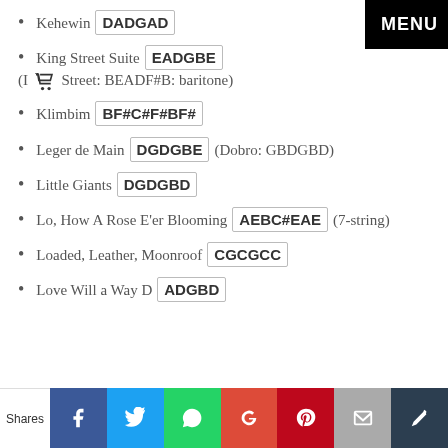Kehewin  DADGAD
King Street Suite  EADGBE  (I [cart] Street: BEADF#B: baritone)
Klimbim  BF#C#F#BF#
Leger de Main  DGDGBE  (Dobro: GBDGBD)
Little Giants  DGDGBD
Lo, How A Rose E'er Blooming  AEBC#EAE  (7-string)
Loaded, Leather, Moonroof  CGCGCC
Love Will a Way D  ADGBD
Shares | Facebook | Twitter | WhatsApp | Google+ | Pinterest | Email | Crown